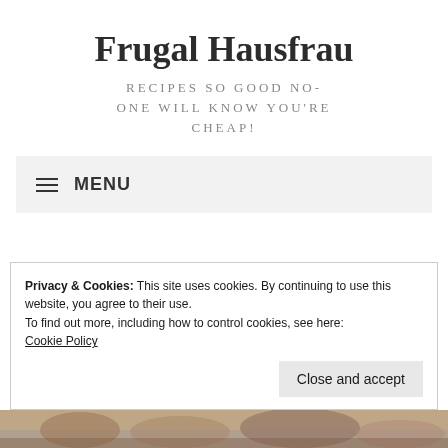Frugal Hausfrau
RECIPES SO GOOD NO-ONE WILL KNOW YOU'RE CHEAP!
☰ MENU
Privacy & Cookies: This site uses cookies. By continuing to use this website, you agree to their use.
To find out more, including how to control cookies, see here:
Cookie Policy
Close and accept
[Figure (photo): Food photograph strip at the bottom of the page]